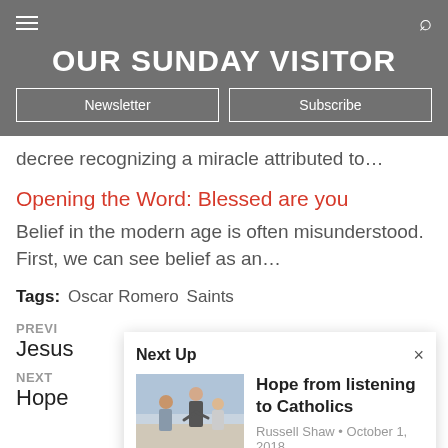OUR SUNDAY VISITOR
decree recognizing a miracle attributed to…
Opening the Word: Blessed are you
Belief in the modern age is often misunderstood. First, we can see belief as an…
Tags: Oscar Romero  Saints
PREVI
Jesus
NEXT
Hope
[Figure (screenshot): Next Up overlay panel showing a photo of people in a meeting with the article title 'Hope from listening to Catholics' by Russell Shaw, October 1, 2018]